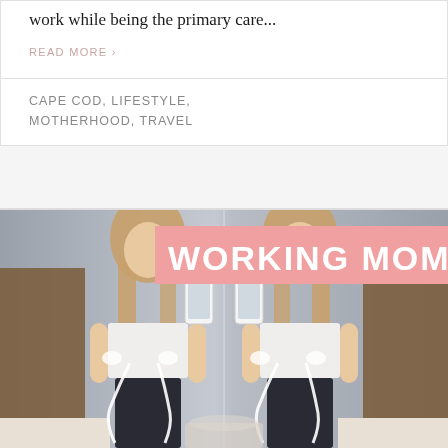work while being the primary care...
READ MORE ›
CAPE COD, LIFESTYLE, MOTHERHOOD, TRAVEL
[Figure (photo): A woman wearing a white corset bra and dark pants takes a mirror selfie with a white phone case, holding what appears to be breast pump equipment. The image is mirrored/doubled showing the same photo side by side. A pink banner overlay reads 'WORKING MOM' in bold white uppercase text.]